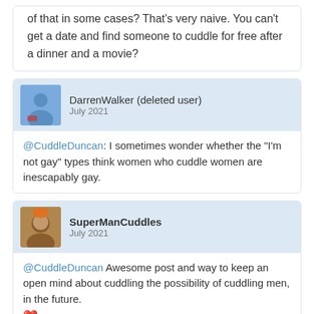of that in some cases? That's very naive. You can't get a date and find someone to cuddle for free after a dinner and a movie?
DarrenWalker (deleted user)
July 2021
@CuddleDuncan: I sometimes wonder whether the "I'm not gay" types think women who cuddle women are inescapably gay.
SuperManCuddles
July 2021
@CuddleDuncan Awesome post and way to keep an open mind about cuddling the possibility of cuddling men, in the future. ❤️